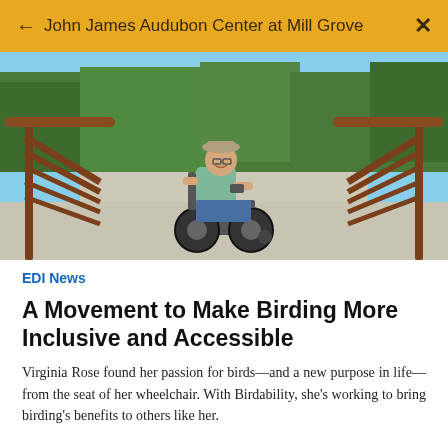← John James Audubon Center at Mill Grove  ×
[Figure (photo): A woman in a wheelchair smiling on a wide accessible bridge ramp with brown metal railings and green trees in the background.]
EDI News
A Movement to Make Birding More Inclusive and Accessible
Virginia Rose found her passion for birds—and a new purpose in life—from the seat of her wheelchair. With Birdability, she's working to bring birding's benefits to others like her.